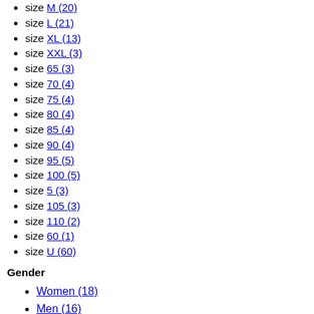size M (20)
size L (21)
size XL (13)
size XXL (3)
size 65 (3)
size 70 (4)
size 75 (4)
size 80 (4)
size 85 (4)
size 90 (4)
size 95 (5)
size 100 (5)
size 5 (3)
size 105 (3)
size 110 (2)
size 60 (1)
size U (60)
Gender
Women (18)
Men (16)
Type of product